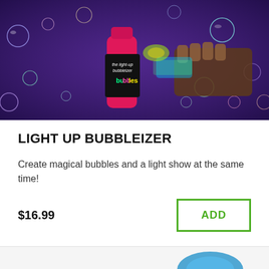[Figure (photo): Product photo of the Light Up Bubbleizer toy — a person's hand holding a light-up bubble gun on a purple background surrounded by colorful glowing bubbles, with a pink bottle labeled 'the light-up bubbleizer bubbles' in the center.]
LIGHT UP BUBBLEIZER
Create magical bubbles and a light show at the same time!
$16.99
ADD